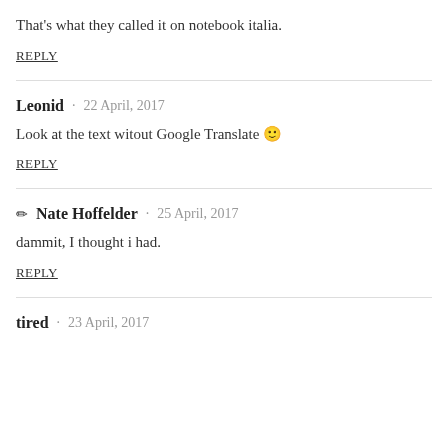That's what they called it on notebook italia.
REPLY
Leonid · 22 April, 2017
Look at the text witout Google Translate 🙂
REPLY
✏ Nate Hoffelder · 25 April, 2017
dammit, I thought i had.
REPLY
tired · 23 April, 2017